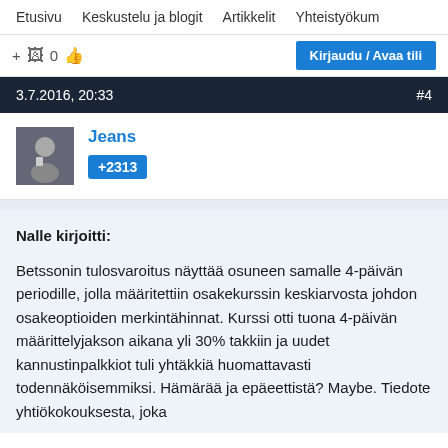Etusivu   Keskustelu ja blogit   Artikkelit   Yhteistyökum
+ 🖹 0 👍  Kirjaudu / Avaa tili
3.7.2016, 20:33   #4
Jeans
+2313
Nalle kirjoitti:

Betssonin tulosvaroitus näyttää osuneen samalle 4-päivän periodille, jolla määritettiin osakekurssin keskiarvosta johdon osakeoptioiden merkintähinnat. Kurssi otti tuona 4-päivän määrittelyjakson aikana yli 30% takkiin ja uudet kannustinpalkkiot tuli yhtäkkiä huomattavasti todennäköisemmiksi. Hämärää ja epäeettistä? Maybe. Tiedote yhtiökokouksesta, joka